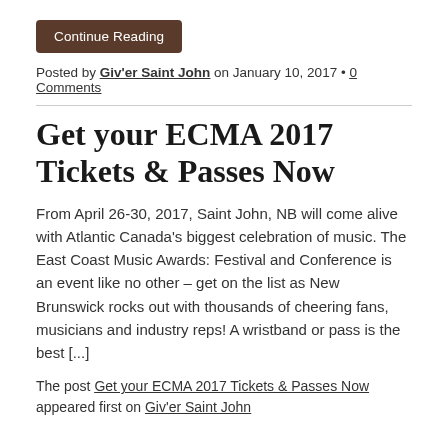Continue Reading
Posted by Giv'er Saint John on January 10, 2017 • 0 Comments
Get your ECMA 2017 Tickets & Passes Now
From April 26-30, 2017, Saint John, NB will come alive with Atlantic Canada's biggest celebration of music. The East Coast Music Awards: Festival and Conference is an event like no other – get on the list as New Brunswick rocks out with thousands of cheering fans, musicians and industry reps! A wristband or pass is the best [...]
The post Get your ECMA 2017 Tickets & Passes Now appeared first on Giv'er Saint John